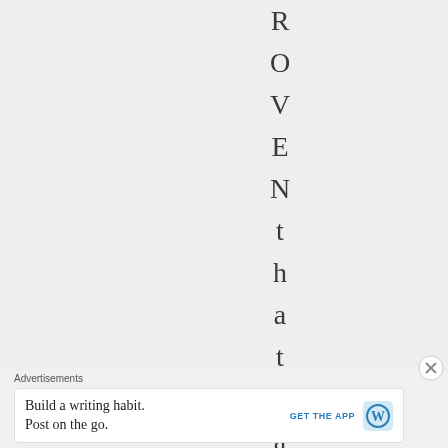ROVENthatmales
Advertisements
Build a writing habit. Post on the go. GET THE APP